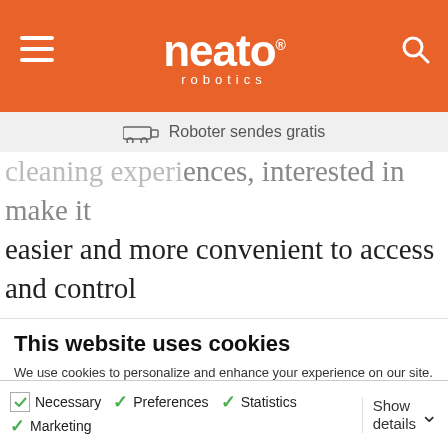neato robotics
Roboter sendes gratis
cleaning experiences, interested in make it easier and more convenient to access and control Neato with Siri across Apple devices, including iPhone, iPad, HomePod, Apple Watch, and AirPods. Available this fall. Neato owners can use voice
This website uses cookies
We use cookies to personalize and enhance your experience on our site. Visit our Privacy Policy to learn more. By using our site, you agree to our use of cookies.
Allow all cookies
Allow selection
Use necessary cookies only
Necessary  Preferences  Statistics  Marketing  Show details